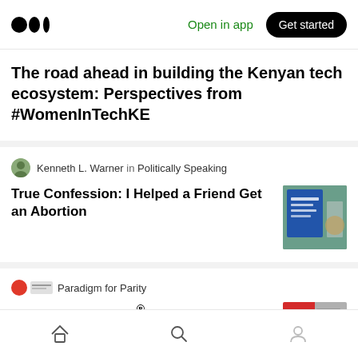Medium logo | Open in app | Get started
The road ahead in building the Kenyan tech ecosystem: Perspectives from #WomenInTechKE
Kenneth L. Warner in Politically Speaking
True Confession: I Helped a Friend Get an Abortion
Paradigm for Parity
Paradigm for Parity® Honors Black History Month with an Interview from Elizabeth Adefioye, Senior...
Jessica Souva
Home | Search | Profile